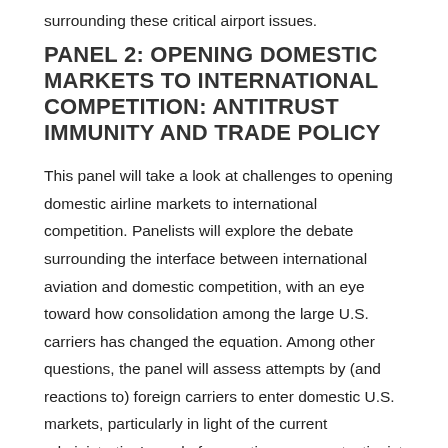surrounding these critical airport issues.
PANEL 2: OPENING DOMESTIC MARKETS TO INTERNATIONAL COMPETITION: ANTITRUST IMMUNITY AND TRADE POLICY
This panel will take a look at challenges to opening domestic airline markets to international competition. Panelists will explore the debate surrounding the interface between international aviation and domestic competition, with an eye toward how consolidation among the large U.S. carriers has changed the equation. Among other questions, the panel will assess attempts by (and reactions to) foreign carriers to enter domestic U.S. markets, particularly in light of the current administration’s goal of promoting more protectionist trade policy. We will also discuss how antitrust immunity for carriers in